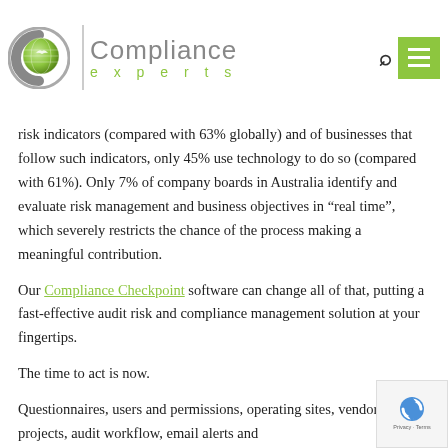[Figure (logo): Compliance Experts logo with globe icon and green 'experts' text]
risk indicators (compared with 63% globally) and of businesses that follow such indicators, only 45% use technology to do so (compared with 61%). Only 7% of company boards in Australia identify and evaluate risk management and business objectives in “real time”, which severely restricts the chance of the process making a meaningful contribution.
Our Compliance Checkpoint software can change all of that, putting a fast-effective audit risk and compliance management solution at your fingertips.
The time to act is now.
Questionnaires, users and permissions, operating sites, vendors and projects, audit workflow, email alerts and